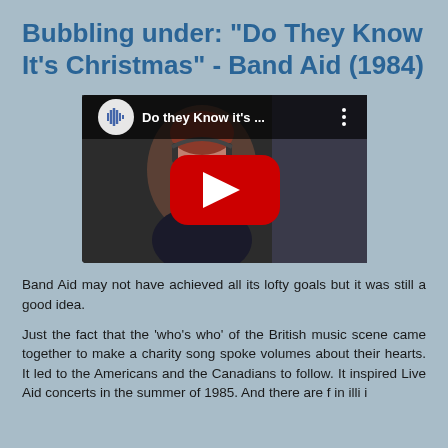Bubbling under: "Do They Know It's Christmas" - Band Aid (1984)
[Figure (screenshot): YouTube video thumbnail showing a person singing into a microphone with YouTube play button overlay and video title 'Do they Know it's ...']
Band Aid may not have achieved all its lofty goals but it was still a good idea.
Just the fact that the 'who's who' of the British music scene came together to make a charity song spoke volumes about their hearts. It led to the Americans and the Canadians to follow. It inspired Live Aid concerts in the summer of 1985. And there are f in illi i